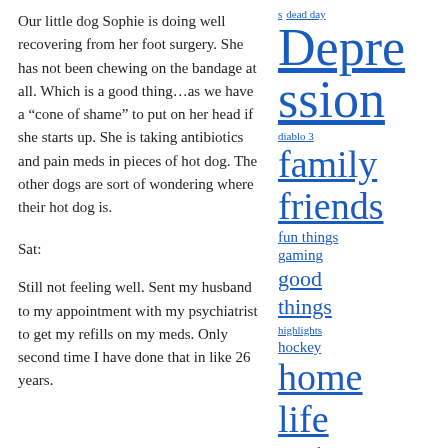Our little dog Sophie is doing well recovering from her foot surgery. She has not been chewing on the bandage at all. Which is a good thing…as we have a “cone of shame” to put on her head if she starts up. She is taking antibiotics and pain meds in pieces of hot dog. The other dogs are sort of wondering where their hot dog is.
Sat:
Still not feeling well. Sent my husband to my appointment with my psychiatrist to get my refills on my meds. Only second time I have done that in like 26 years.
s
dead day
Depression
diablo 3
family friends
fun things
gaming
good things
highlights
hockey
home life
mania
me
Men
mental health